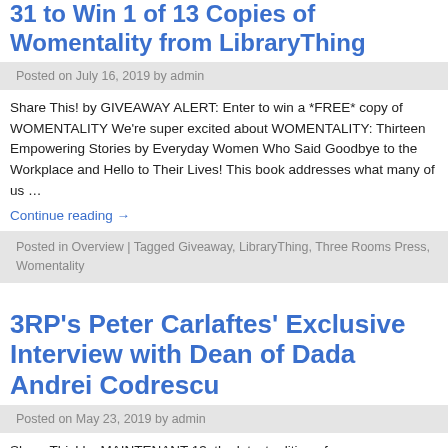31 to Win 1 of 13 Copies of Womentality from LibraryThing
Posted on July 16, 2019 by admin
Share This! by GIVEAWAY ALERT: Enter to win a *FREE* copy of WOMENTALITY We're super excited about WOMENTALITY: Thirteen Empowering Stories by Everyday Women Who Said Goodbye to the Workplace and Hello to Their Lives! This book addresses what many of us …
Continue reading →
Posted in Overview | Tagged Giveaway, LibraryThing, Three Rooms Press, Womentality
3RP's Peter Carlaftes' Exclusive Interview with Dean of Dada Andrei Codrescu
Posted on May 23, 2019 by admin
Share This! by MAINTENANT 13, the latest edition of our